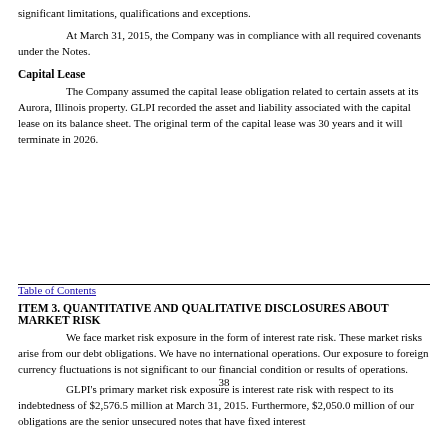significant limitations, qualifications and exceptions.
At March 31, 2015, the Company was in compliance with all required covenants under the Notes.
Capital Lease
The Company assumed the capital lease obligation related to certain assets at its Aurora, Illinois property. GLPI recorded the asset and liability associated with the capital lease on its balance sheet. The original term of the capital lease was 30 years and it will terminate in 2026.
38
Table of Contents
ITEM 3. QUANTITATIVE AND QUALITATIVE DISCLOSURES ABOUT MARKET RISK
We face market risk exposure in the form of interest rate risk. These market risks arise from our debt obligations. We have no international operations. Our exposure to foreign currency fluctuations is not significant to our financial condition or results of operations.
GLPI's primary market risk exposure is interest rate risk with respect to its indebtedness of $2,576.5 million at March 31, 2015. Furthermore, $2,050.0 million of our obligations are the senior unsecured notes that have fixed interest